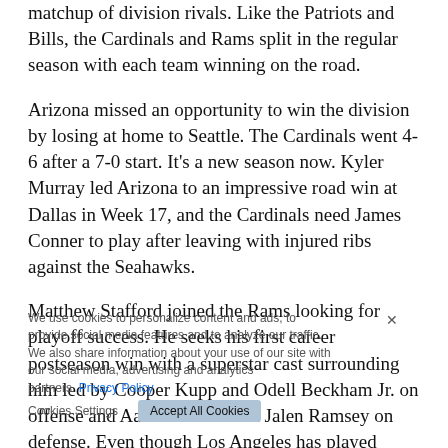matchup of division rivals. Like the Patriots and Bills, the Cardinals and Rams split in the regular season with each team winning on the road.
Arizona missed an opportunity to win the division by losing at home to Seattle. The Cardinals went 4-6 after a 7-0 start. It's a new season now. Kyler Murray led Arizona to an impressive road win at Dallas in Week 17, and the Cardinals need James Conner to play after leaving with injured ribs against the Seahawks.
Matthew Stafford joined the Rams looking for playoff success. He seeks his first career postseason win with a superstar cast surrounding him led by Cooper Kupp and Odell Beckham Jr. on offense and Aaron Donald and Jalen Ramsey on defense. Even though Los Angeles has played better on the road, Stafford should finally get that win and keep alive the possibility the Rams can become the second team to play a Super Bowl in their home stadium.